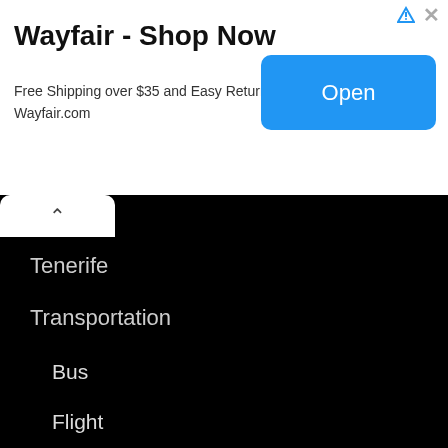[Figure (screenshot): Wayfair advertisement banner with title, subtitle, and Open button]
Wayfair - Shop Now
Free Shipping over $35 and Easy Returns
Wayfair.com
Tenerife
Transportation
Bus
Flight
Subway
Taxi
Train